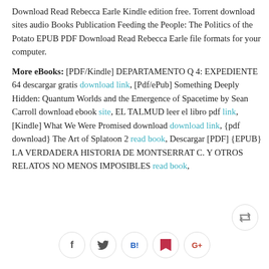Download Read Rebecca Earle Kindle edition free. Torrent download sites audio Books Publication Feeding the People: The Politics of the Potato EPUB PDF Download Read Rebecca Earle file formats for your computer.
More eBooks: [PDF/Kindle] DEPARTAMENTO Q 4: EXPEDIENTE 64 descargar gratis download link, [Pdf/ePub] Something Deeply Hidden: Quantum Worlds and the Emergence of Spacetime by Sean Carroll download ebook site, EL TALMUD leer el libro pdf link, [Kindle] What We Were Promised download download link, {pdf download} The Art of Splatoon 2 read book, Descargar [PDF] {EPUB} LA VERDADERA HISTORIA DE MONTSERRAT C. Y OTROS RELATOS NO MENOS IMPOSIBLES read book,